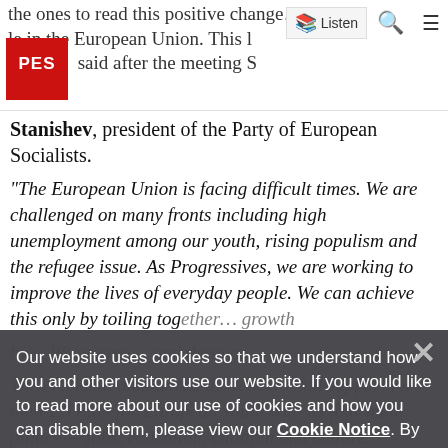the ones to read this positive change… le in the European Union. This l… ing so, said after the meeting S… | Listen | [search] [menu]
Stanishev, president of the Party of European Socialists.
“The European Union is facing difficult times. We are challenged on many fronts including high unemployment among our youth, rising populism and the refugee issue. As Progressives, we are working to improve the lives of everyday people. We can achieve this only by toiling together… growth by… We are rea… and these po…
The… resident announced the leaders' full support for the PES Plan for European Youth with its four main pillars — jobs, education, children and culture.
Th… at heads of states and government and leaders agreed on the importance of investment and the further development of the so-called
Our website uses cookies so that we understand how you and other visitors use our website. If you would like to read more about our use of cookies and how you can disable them, please view our Cookie Notice. By clicking the "I accept" button, you consent to the use of these cookies.
I accept